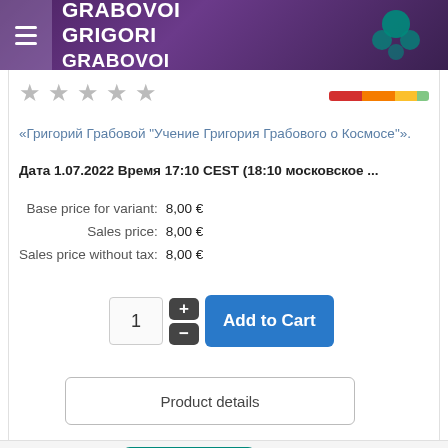GRABOVOI GRIGORI GRABOVOI
[Figure (illustration): Teal circular illustration with abstract shapes in top-right header area]
★ ★ ★ ★ ★
[Figure (infographic): Decorative color bar (red, orange, yellow, green segments)]
«Григорий Грабовой "Учение Григория Грабового о Космосе»».
Дата 1.07.2022 Время 17:10 CEST (18:10 московское ...
| Label | Price |
| --- | --- |
| Base price for variant: | 8,00 € |
| Sales price: | 8,00 € |
| Sales price without tax: | 8,00 € |
[Figure (other): Quantity selector with + and - buttons, showing 1, and blue Add to Cart button]
[Figure (other): Product details button (outlined rectangle)]
[Figure (illustration): Video/webinar icon: screen with play button and audience silhouette]